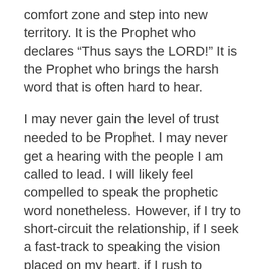comfort zone and step into new territory. It is the Prophet who declares “Thus says the LORD!”  It is the Prophet who brings the harsh word that is often hard to hear.
I may never gain the level of trust needed to be Prophet. I may never get a hearing with the people I am called to lead. I will likely feel compelled to speak the prophetic word nonetheless. However, if I try to short-circuit the relationship, if I seek a fast-track to speaking the vision placed on my heart, if I rush to push/pull/prod the people without first building the relational capital necessary to share the fire burning in my bones, we will all suffer for it.
So as I make my transition to a new land and a new people, I will start where I can start; I will do what I